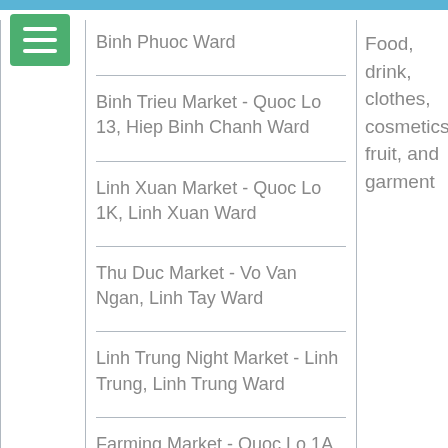|  | Location | Products |
| --- | --- | --- |
| Local Markets | Binh Phuoc Ward

Binh Trieu Market - Quoc Lo 13, Hiep Binh Chanh Ward

Linh Xuan Market - Quoc Lo 1K, Linh Xuan Ward

Thu Duc Market - Vo Van Ngan, Linh Tay Ward

Linh Trung Night Market - Linh Trung, Linh Trung Ward

Farming Market - Quoc Lo 1A, Tam | Food, drink, clothes, cosmetics, fruit, and garment |